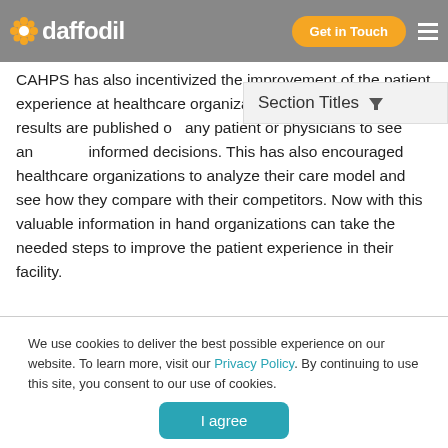daffodil | Get in Touch
CAHPS has also incentivized the improvement of the patient experience at healthcare organizations. These surveys and results are published on any patient or physicians to see and make informed decisions. This has also encouraged healthcare organizations to analyze their care model and see how they compare with their competitors. Now with this valuable information in hand organizations can take the needed steps to improve the patient experience in their facility.
We use cookies to deliver the best possible experience on our website. To learn more, visit our Privacy Policy. By continuing to use this site, you consent to our use of cookies.
I agree